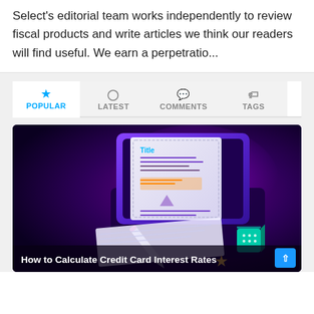Select's editorial team works independently to review fiscal products and write articles we think our readers will find useful. We earn a perpetratio...
POPULAR | LATEST | COMMENTS | TAGS
[Figure (illustration): 3D illustration of a laptop/tablet device showing a document with 'Title' text and form fields, with a pen/stylus resting on paper. Purple/dark background with glowing effects. Teal cube decorative element. Caption: 'How to Calculate Credit Card Interest Rates'.]